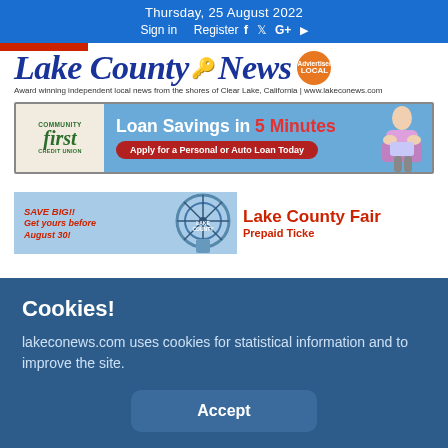Thursday, 25 August 2022
Sign in   Register
[Figure (logo): Lake County News logo with key icon and badge. Tagline: Award winning independent local news from the shores of Clear Lake, California | www.lakeconews.com]
[Figure (illustration): Community First Credit Union ad banner: Loan Savings in 5 Minutes. Apply for a Personal or Auto Loan Today.]
[Figure (illustration): Lake County Fair ad banner: SAVE BIG!! Get yours before August 30! Lake County Fair. Prepaid Ticket text partially visible.]
Cookies!
lakeconews.com uses cookies for statistical information and to improve the site.
Accept